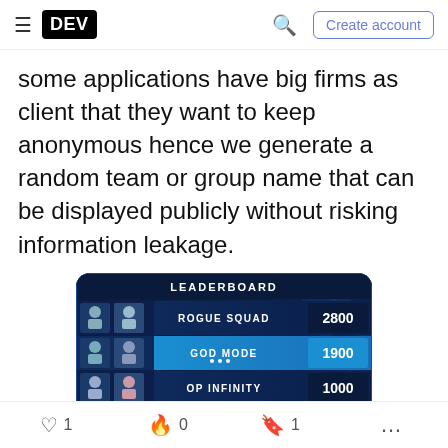DEV | Create account
some applications have big firms as client that they want to keep anonymous hence we generate a random team or group name that can be displayed publicly without risking information leakage.
[Figure (screenshot): A gaming-style leaderboard showing four teams: ROGUE SQUAD (2800), GOD MODE (1900), OP INFINITY (1000), KILLSTREAKRS (0), on a dark blue sci-fi background with player avatars on the left.]
For this we have decided to build a small library that
♡ 1   🔥 0   🔖 1   ...